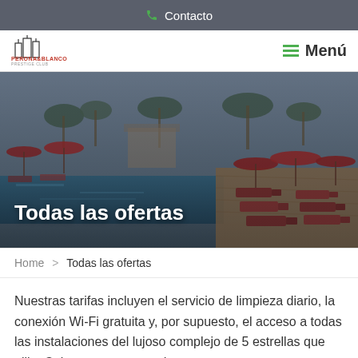📞 Contacto
[Figure (screenshot): Website navigation bar with building logo on the left and green Menú (hamburger menu) on the right]
[Figure (photo): Tropical resort pool with red lounge chairs, red umbrellas, and palm trees in the background. Overlay text reads 'Todas las ofertas']
Home > Todas las ofertas
Nuestras tarifas incluyen el servicio de limpieza diario, la conexión Wi-Fi gratuita y, por supuesto, el acceso a todas las instalaciones del lujoso complejo de 5 estrellas que elija. Cobramos una tasa de